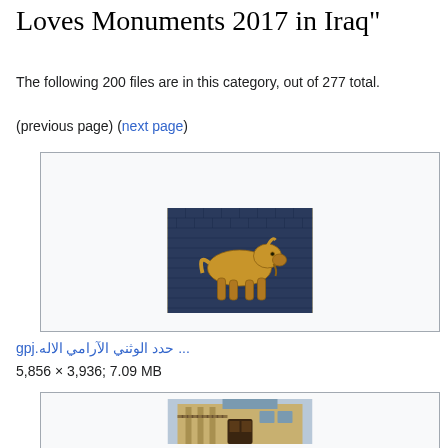Loves Monuments 2017 in Iraq"
The following 200 files are in this category, out of 277 total.
(previous page) (next page)
[Figure (photo): Ancient Babylonian relief showing a golden bull/lion walking figure against a blue brick background]
الاله الآرامي الوثني حدد ...jpg
5,856 × 3,936; 7.09 MB
[Figure (photo): Photo of a historic building courtyard with columns and arched doorways]